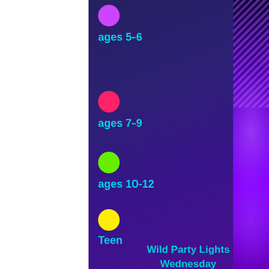● ages 5-6
● ages 7-9
● ages 10-12
● Teen
Wild Party Lights Wednesday
3-3:45
ages 5-6
[Figure (illustration): Colored dots (purple and pink) at the bottom of the page indicating age group legend]